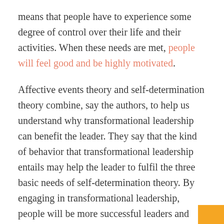means that people have to experience some degree of control over their life and their activities. When these needs are met, people will feel good and be highly motivated.
Affective events theory and self-determination theory combine, say the authors, to help us understand why transformational leadership can benefit the leader. They say that the kind of behavior that transformational leadership entails may help the leader to fulfil the three basic needs of self-determination theory. By engaging in transformational leadership, people will be more successful leaders and thereby experience competence. By connecting with others in a more diplomatic and trust-building way, leaders may experience relatedness. Finally, by